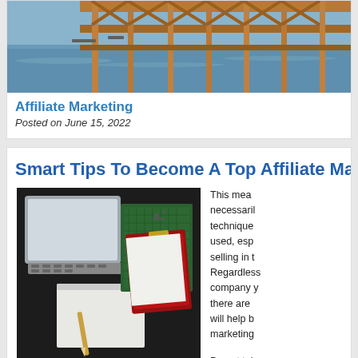[Figure (photo): Bridge over water photo, partially visible at top]
Affiliate Marketing
Posted on June 15, 2022
Smart Tips To Become A Top Affiliate Marke…
[Figure (photo): Flat lay of laptop, notebook, pencil, and clipboard on dark desk]
This mean necessarily techniques used, espe selling in t Regardless company y there are will help b marketing
Do not tak these coo allow your to do so. T cause irrit visitor At v